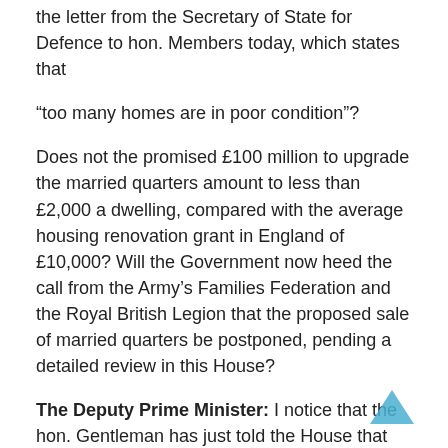the letter from the Secretary of State for Defence to hon. Members today, which states that
“too many homes are in poor condition”?
Does not the promised £100 million to upgrade the married quarters amount to less than £2,000 a dwelling, compared with the average housing renovation grant in England of £10,000? Will the Government now heed the call from the Army’s Families Federation and the Royal British Legion that the proposed sale of married quarters be postponed, pending a detailed review in this House?
The Deputy Prime Minister: I notice that the hon. Gentleman has just told the House that £100 million-worth of renovation is not adequate for the task. No wonder the shadow Chancellor is not in